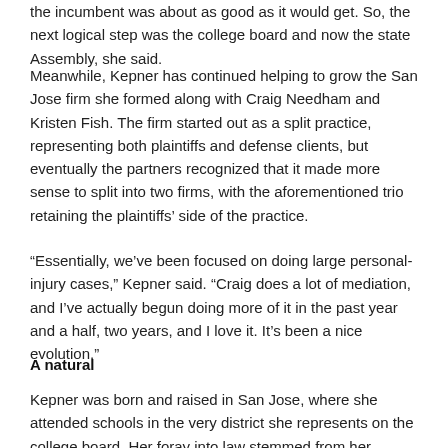the incumbent was about as good as it would get. So, the next logical step was the college board and now the state Assembly, she said.
Meanwhile, Kepner has continued helping to grow the San Jose firm she formed along with Craig Needham and Kristen Fish. The firm started out as a split practice, representing both plaintiffs and defense clients, but eventually the partners recognized that it made more sense to split into two firms, with the aforementioned trio retaining the plaintiffs' side of the practice.
“Essentially, we’ve been focused on doing large personal-injury cases,” Kepner said. “Craig does a lot of mediation, and I’ve actually begun doing more of it in the past year and a half, two years, and I love it. It’s been a nice evolution.”
A natural
Kepner was born and raised in San Jose, where she attended schools in the very district she represents on the college board. Her foray into law stemmed from her interest in public health, which she studied for her undergraduate degree at De Anza College and San Jose State